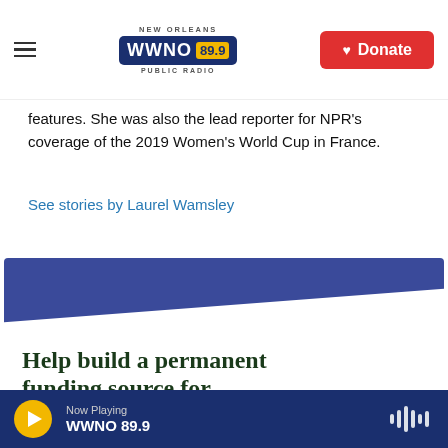NEW ORLEANS WWNO 89.9 PUBLIC RADIO | Donate
features. She was also the lead reporter for NPR's coverage of the 2019 Women's World Cup in France.
See stories by Laurel Wamsley
[Figure (illustration): Promotional banner with blue background and diagonal white section reading 'Help build a permanent funding source for']
Now Playing WWNO 89.9